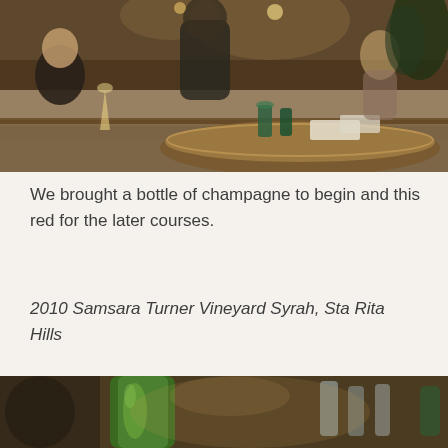[Figure (photo): Interior of an upscale restaurant showing diners seated at tables, warm ambient lighting, a round table in the foreground with green glassware, booth seating with light upholstery, and plants visible in the background.]
We brought a bottle of champagne to begin and this red for the later courses.
2010 Samsara Turner Vineyard Syrah, Sta Rita Hills
[Figure (photo): Close-up of a wine bottle (green glass) on a restaurant table with various glasses and other bottles visible in the background, soft blurred ambiance.]